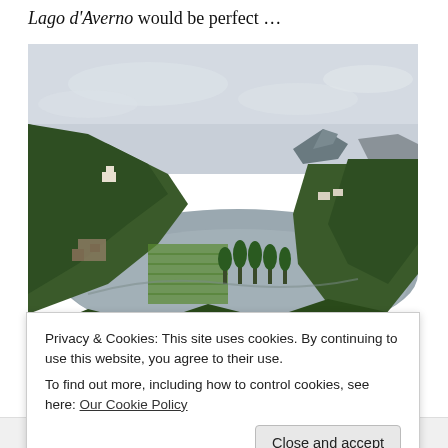Lago d'Averno would be perfect …
[Figure (photo): Aerial view of Lago d'Averno, a volcanic crater lake in Italy, surrounded by green hills and vineyards, with the bay and distant rock island visible in the background under an overcast sky.]
Privacy & Cookies: This site uses cookies. By continuing to use this website, you agree to their use.
To find out more, including how to control cookies, see here: Our Cookie Policy
Close and accept